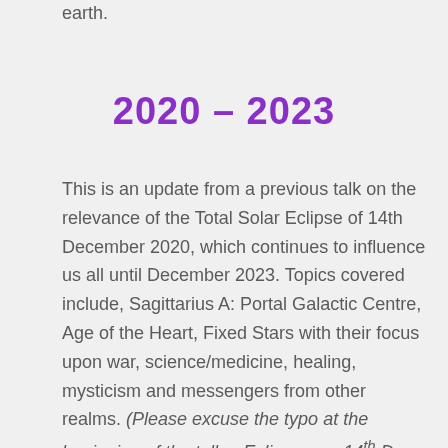earth.
2020 – 2023
This is an update from a previous talk on the relevance of the Total Solar Eclipse of 14th December 2020, which continues to influence us all until December 2023. Topics covered include, Sagittarius A: Portal Galactic Centre, Age of the Heart, Fixed Stars with their focus upon war, science/medicine, healing, mysticism and messengers from other realms. (Please excuse the typo at the beginning of the talk – Eclipse was 14th Dec 2020, not 4th Dec 2020).